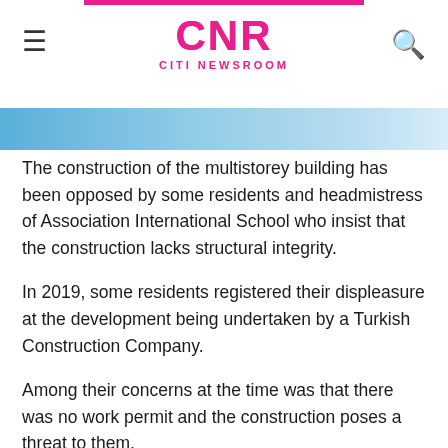CNR CITI NEWSROOM
[Figure (photo): Partial view of a building or construction site image strip at the top of the article]
The construction of the multistorey building has been opposed by some residents and headmistress of Association International School who insist that the construction lacks structural integrity.
In 2019, some residents registered their displeasure at the development being undertaken by a Turkish Construction Company.
Among their concerns at the time was that there was no work permit and the construction poses a threat to them.
Audrey Doryumu at the time said, “the debris, the dust, the air conditions in the school are coming out regularly because the dust is just too much in the atmosphere.